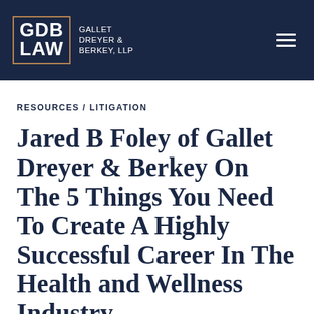GDB LAW | GALLET DREYER & BERKEY, LLP
RESOURCES / LITIGATION
Jared B Foley of Gallet Dreyer & Berkey On The 5 Things You Need To Create A Highly Successful Career In The Health and Wellness Industry